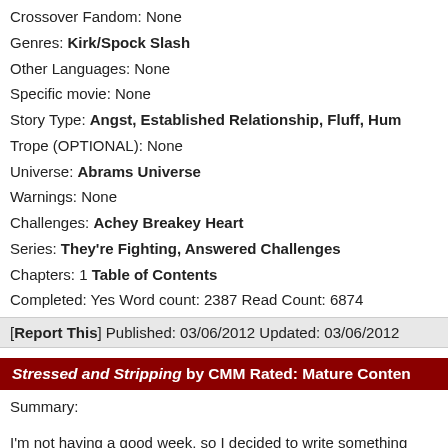Crossover Fandom: None
Genres: Kirk/Spock Slash
Other Languages: None
Specific movie: None
Story Type: Angst, Established Relationship, Fluff, Hum...
Trope (OPTIONAL): None
Universe: Abrams Universe
Warnings: None
Challenges: Achey Breakey Heart
Series: They're Fighting, Answered Challenges
Chapters: 1 Table of Contents
Completed: Yes Word count: 2387 Read Count: 6874
[Report This] Published: 03/06/2012 Updated: 03/06/2012
Stressed and Stripping by CMM Rated: Mature Conten...
Summary:
I'm not having a good week, so I decided to write something...
Categories: Fiction
Characters: None
Crossover Fandom: None
Genres: Kirk/Spock Slash